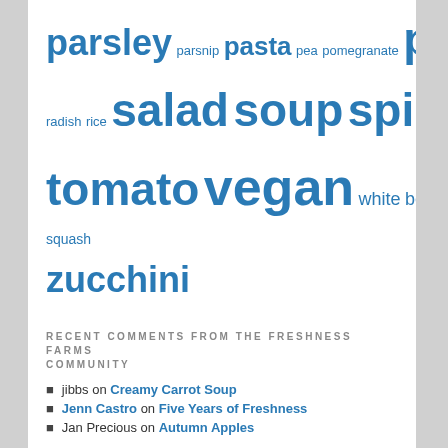parsley parsnip pasta pea pomegranate potato quinoa radish rice salad soup spinach strawberry tomato vegan white bean winter squash zucchini
RECENT COMMENTS FROM THE FRESHNESS FARMS COMMUNITY
jibbs on Creamy Carrot Soup
Jenn Castro on Five Years of Freshness
Jan Precious on Autumn Apples
RECENT BITES
[Figure (photo): A baking dish of stuffed cabbage rolls with tomato sauce and fresh herbs (parsley), with a woven mat underneath]